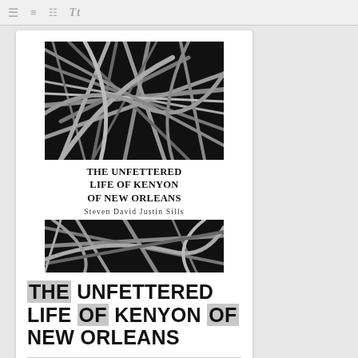[Figure (screenshot): Top navigation bar with icon buttons for list, menu, grid, and text size views]
[Figure (illustration): Book cover thumbnail showing black and white tangled branches/roots with title 'THE UNFETTERED LIFE OF KENYON OF NEW ORLEANS' and author 'Steven David Justin Sills']
THE UNFETTERED LIFE OF KENYON OF NEW ORLEANS
BY: STEVEN DAVID JUSTIN SILLS